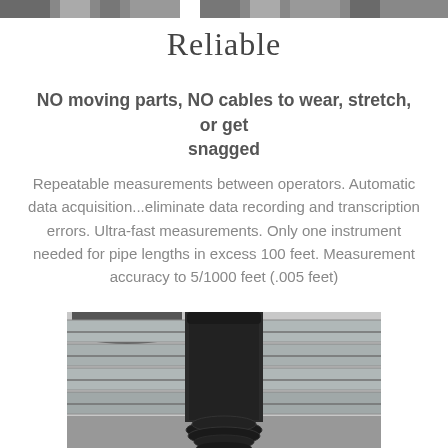[Figure (photo): Partial view of pipe images at the top of the page, cropped.]
Reliable
NO moving parts, NO cables to wear, stretch, or get snagged
Repeatable measurements between operators. Automatic data acquisition...eliminate data recording and transcription errors. Ultra-fast measurements. Only one instrument needed for pipe lengths in excess 100 feet. Measurement accuracy to 5/1000 feet (.005 feet)
[Figure (photo): Close-up photograph of metal pipes and a black coiled cable or device in the foreground.]